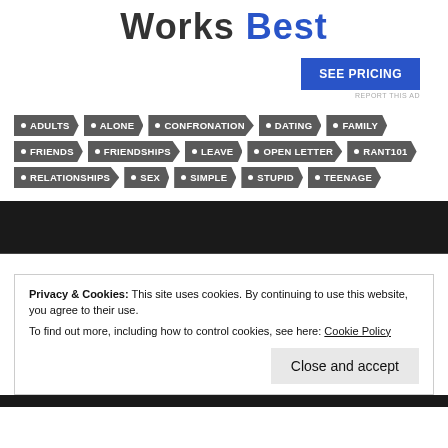Works Best
SEE PRICING
REPORT THIS AD
ADULTS
ALONE
CONFRONATION
DATING
FAMILY
FRIENDS
FRIENDSHIPS
LEAVE
OPEN LETTER
RANT101
RELATIONSHIPS
SEX
SIMPLE
STUPID
TEENAGE
MUSIC
Privacy & Cookies: This site uses cookies. By continuing to use this website, you agree to their use. To find out more, including how to control cookies, see here: Cookie Policy
Close and accept